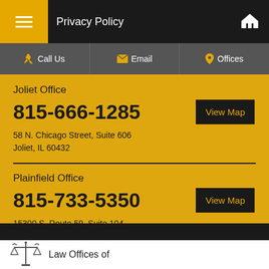Privacy Policy
Call Us | Email | Offices
Joliet Office
815-666-1285
58 N. Chicago Street, Suite 606
Joliet, IL 60432
Plainfield Office
815-733-5350
15300 S. Route 59, Suite 104
Plainfield, IL 60544
Law Offices of